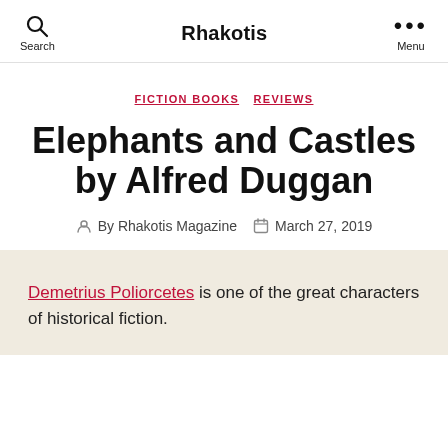Search  Rhakotis  Menu
FICTION BOOKS  REVIEWS
Elephants and Castles by Alfred Duggan
By Rhakotis Magazine  March 27, 2019
Demetrius Poliorcetes is one of the great characters of historical fiction.